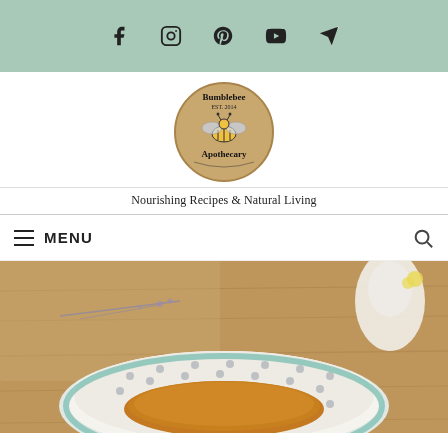Social icons bar: Facebook, Instagram, Pinterest, YouTube, Email/Send
[Figure (logo): Bumblebee Apothecary circular logo with bee illustration on kraft-brown background]
Nourishing Recipes & Natural Living
MENU navigation bar with hamburger icon and search icon
[Figure (photo): A decorative bowl containing honey or sauce, placed on a wooden surface with dried lavender and burlap fabric in the background]